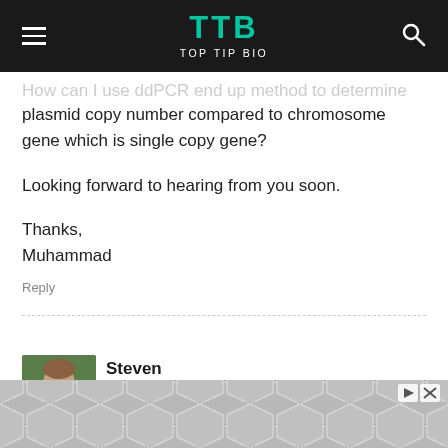TTB TOP TIP BIO
plasmid copy number compared to chromosome gene which is single copy gene?

Looking forward to hearing from you soon.

Thanks,
Muhammad
Reply
Steven
November 7, 2018 At 9:29 am
Hi Muhammad,
Many thanks for your comment.
[Figure (photo): Geometric hexagonal ad banner pattern in gray tones with play and close controls]
[Figure (photo): Profile photo of Steven, a man with beard and light brown hair]